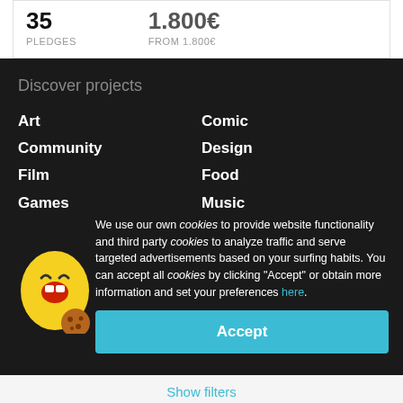35 PLEDGES
1.800€ FROM 1.800€
Discover projects
Art
Comic
Community
Design
Film
Food
Games
Music
Performing Arts
Photography
We use our own cookies to provide website functionality and third party cookies to analyze traffic and serve targeted advertisements based on your surfing habits. You can accept all cookies by clicking "Accept" or obtain more information and set your preferences here.
Accept
Show filters